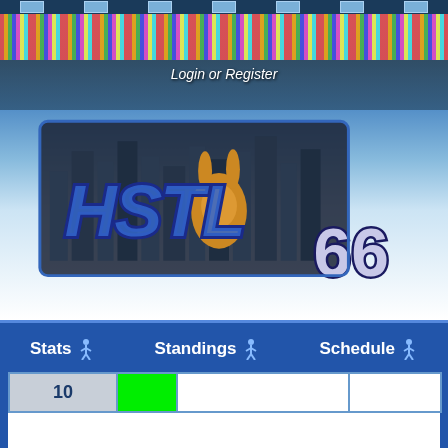[Figure (screenshot): HSTL 66 sports game website banner with pixel-art stadium background, colorful crowd, and cartoon mascot rabbit. Logo reads 'HSTL 66' in large stylized blue letters.]
Login or Register
Stats   Standings   Schedule
| Week | Result | Opponent | Score |
| --- | --- | --- | --- |
| 10 | W |  |  |
| Season 30, Week 9 | W | @CLE / imflo | 35 - 14 |
| Season 30, Week 8 | W | CLE / imflo | 30 - 14 |